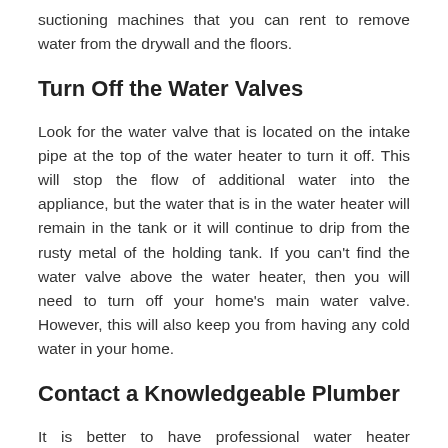suctioning machines that you can rent to remove water from the drywall and the floors.
Turn Off the Water Valves
Look for the water valve that is located on the intake pipe at the top of the water heater to turn it off. This will stop the flow of additional water into the appliance, but the water that is in the water heater will remain in the tank or it will continue to drip from the rusty metal of the holding tank. If you can't find the water valve above the water heater, then you will need to turn off your home's main water valve. However, this will also keep you from having any cold water in your home.
Contact a Knowledgeable Plumber
It is better to have professional water heater installation service from knowledgeable plumbers who understand how to choose the proper type of appliance for your home. There